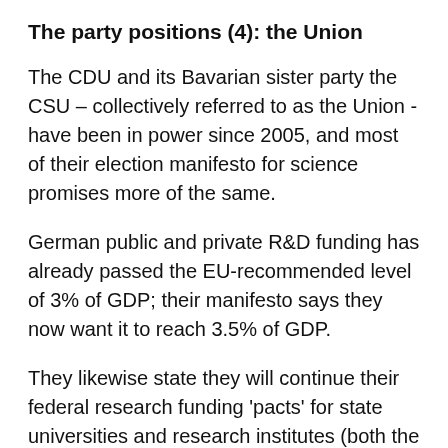The party positions (4): the Union
The CDU and its Bavarian sister party the CSU – collectively referred to as the Union - have been in power since 2005, and most of their election manifesto for science promises more of the same.
German public and private R&D funding has already passed the EU-recommended level of 3% of GDP; their manifesto says they now want it to reach 3.5% of GDP.
They likewise state they will continue their federal research funding 'pacts' for state universities and research institutes (both the Excellence Strategy and the 'Pact for Research and Innovation' designed to give longer-term funding stability to German universities).
Unlike the SPD, Greens and FDP they do not want to create a new agency for tech transfer, instead opting to